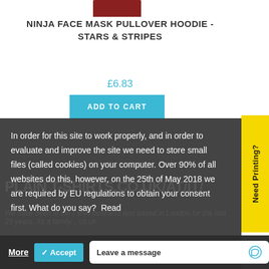[Figure (photo): Partial product image of a dark red/maroon ninja face mask pullover hoodie, cropped at top]
NINJA FACE MASK PULLOVER HOODIE - STARS & STRIPES
£6.83
ADD TO CART
Need Printing?
In order for this site to work properly, and in order to evaluate and improve the site we need to store small files (called cookies) on your computer. Over 90% of all websites do this, however, on the 25th of May 2018 we are required by EU regulations to obtain your consent first. What do you say?  Read
More
✔ Accept
Leave a message